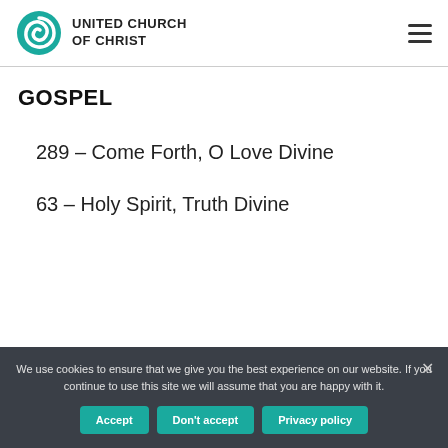[Figure (logo): United Church of Christ logo with teal spiral graphic and bold uppercase text]
GOSPEL
289 – Come Forth, O Love Divine
63 – Holy Spirit, Truth Divine
We use cookies to ensure that we give you the best experience on our website. If you continue to use this site we will assume that you are happy with it.